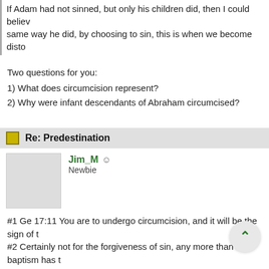If Adam had not sinned, but only his children did, then I could believe same way he did, by choosing to sin, this is when we become disto…
Two questions for you:
1) What does circumcision represent?
2) Why were infant descendants of Abraham circumcised?
Re: Predestination
Jim_M  Newbie
#1 Ge 17:11 You are to undergo circumcision, and it will be the sign of t… #2 Certainly not for the forgiveness of sin, any more than baptism has t… will be forgiven if the heart is also right with God. You have assigned yo… guilty of sin. Why?